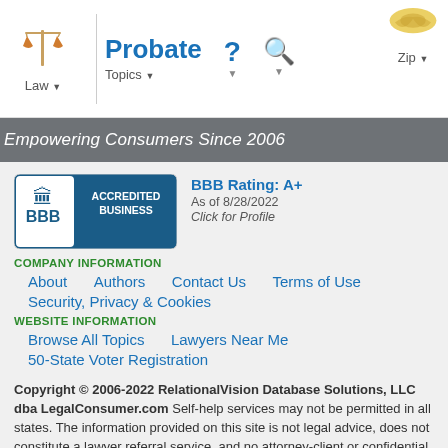Law  Probate  Topics  [search icons]  Zip
Empowering Consumers Since 2006
[Figure (logo): BBB Accredited Business badge with BBB Rating: A+, As of 8/28/2022, Click for Profile]
COMPANY INFORMATION
About
Authors
Contact Us
Terms of Use
Security, Privacy & Cookies
WEBSITE INFORMATION
Browse All Topics
Lawyers Near Me
50-State Voter Registration
Copyright © 2006-2022 RelationalVision Database Solutions, LLC dba LegalConsumer.com Self-help services may not be permitted in all states. The information provided on this site is not legal advice, does not constitute a lawyer referral service, and no attorney-client or confidential relationship is or will be formed by use of the site. The sponsored attorney advertisements on this site are paid attorney advertising. In some states, the information on this website may be considered a lawyer referral service. Your use of this website constitutes acceptance of the Terms of Use, Privacy Policy and Cookie Policy.